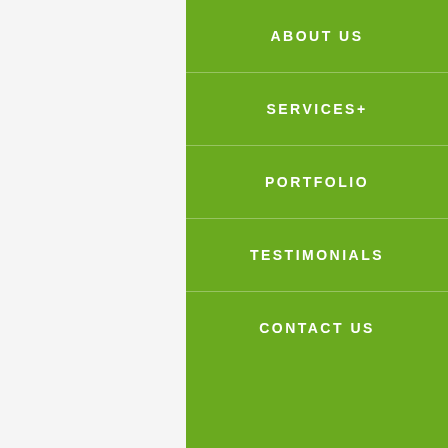[Figure (logo): Sydney Green Group logo with tree illustration and company name]
infestations and fungal issues that can affect the lawns and other greenery on the property.
The best way to avoid all of this is to hire our licensed professionals here at Sydney Green Group to do the job.
Here's why you should hire our Cheltenham specialists:
Our team of arborists has the extensive amount
ABOUT US
SERVICES+
PORTFOLIO
TESTIMONIALS
CONTACT US